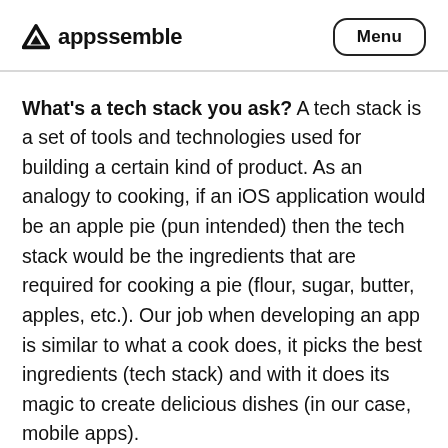appssemble  Menu
What's a tech stack you ask? A tech stack is a set of tools and technologies used for building a certain kind of product. As an analogy to cooking, if an iOS application would be an apple pie (pun intended) then the tech stack would be the ingredients that are required for cooking a pie (flour, sugar, butter, apples, etc.). Our job when developing an app is similar to what a cook does, it picks the best ingredients (tech stack) and with it does its magic to create delicious dishes (in our case, mobile apps).